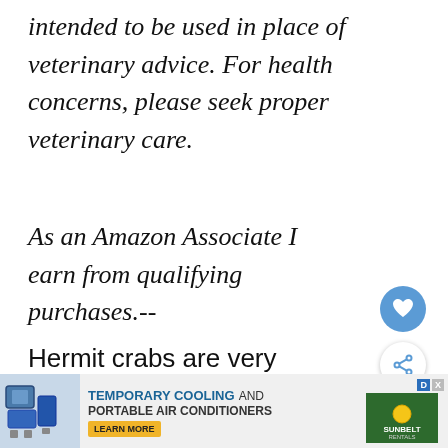intended to be used in place of veterinary advice. For health concerns, please seek proper veterinary care.
As an Amazon Associate I earn from qualifying purchases.--
Hermit crabs are very interesting pets, but it's crucial to learn how to care for them properly. If you don't meet the
[Figure (other): Heart/like button (blue circle with heart icon) and share button (white circle with share icon), plus a 'What's Next' widget showing a hermit crab thumbnail and label 'The Optimal Hermit Crab...']
[Figure (other): Advertisement banner: 'TEMPORARY COOLING AND PORTABLE AIR CONDITIONERS' with LEARN MORE button and Sunbelt Rentals logo]